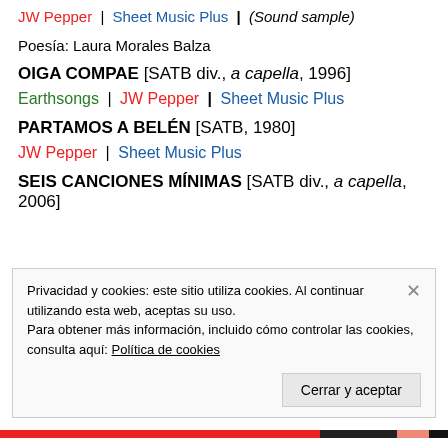JW Pepper | Sheet Music Plus | (Sound sample)
Poesía: Laura Morales Balza
OIGA COMPAE [SATB div., a capella, 1996]
Earthsongs | JW Pepper | Sheet Music Plus
PARTAMOS A BELÉN [SATB, 1980]
JW Pepper | Sheet Music Plus
SEIS CANCIONES MÍNIMAS [SATB div., a capella, 2006]
Privacidad y cookies: este sitio utiliza cookies. Al continuar utilizando esta web, aceptas su uso.
Para obtener más información, incluido cómo controlar las cookies, consulta aquí: Política de cookies
Cerrar y aceptar